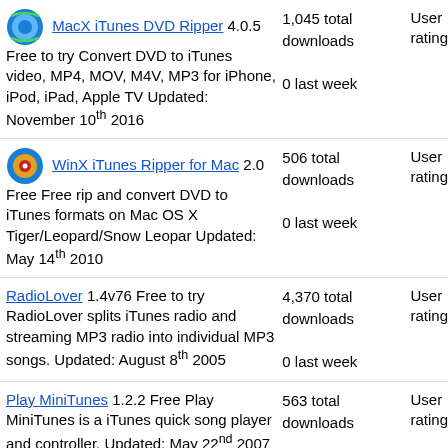MacX iTunes DVD Ripper 4.0.5 Free to try Convert DVD to iTunes video, MP4, MOV, M4V, MP3 for iPhone, iPod, iPad, Apple TV Updated: November 10th 2016 | 1,045 total downloads | 0 last week | User rating
WinX iTunes Ripper for Mac 2.0 Free Free rip and convert DVD to iTunes formats on Mac OS X Tiger/Leopard/Snow Leopar Updated: May 14th 2010 | 506 total downloads | 0 last week | User rating
RadioLover 1.4v76 Free to try RadioLover splits iTunes radio and streaming MP3 radio into individual MP3 songs. Updated: August 8th 2005 | 4,370 total downloads | 0 last week | User rating
Play MiniTunes 1.2.2 Free Play MiniTunes is a iTunes quick song player and controller. Updated: May 22nd 2007 | 563 total downloads | 0 last week | User rating
SRS iWOW 3.0.0.255 Free to try SRS iWOW | 3,058 total downloads | User